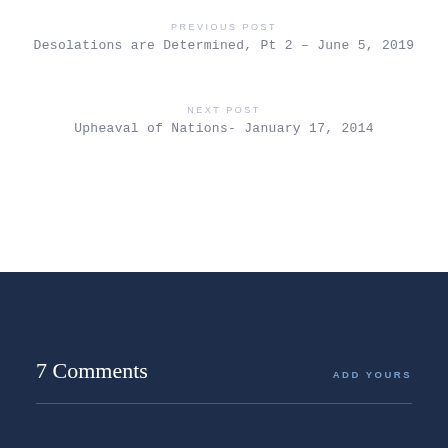PREVIOUS POST
Desolations are Determined, Pt 2 – June 5, 2019
NEXT POST
Upheaval of Nations- January 17, 2014
7 Comments
ADD YOURS